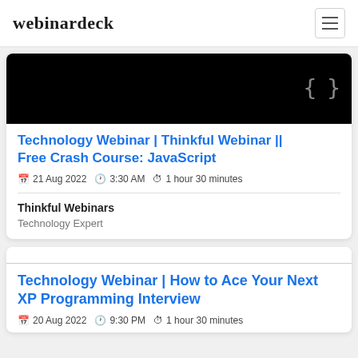webinardeck
[Figure (screenshot): Black banner image with curly braces icon in bottom-right corner]
Technology Webinar | Thinkful Webinar || Free Crash Course: JavaScript
21 Aug 2022  3:30 AM  1 hour 30 minutes
Thinkful Webinars
Technology Expert
Technology Webinar | How to Ace Your Next XP Programming Interview
20 Aug 2022  9:30 PM  1 hour 30 minutes